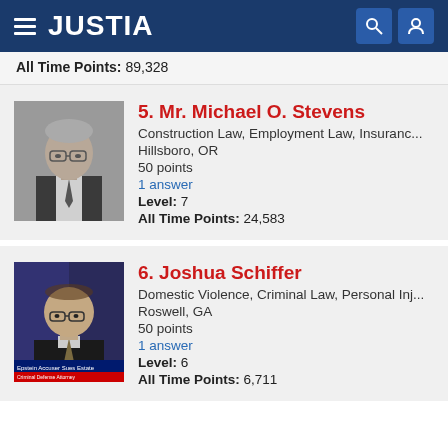JUSTIA
All Time Points: 89,328
5. Mr. Michael O. Stevens
Construction Law, Employment Law, Insuranc...
Hillsboro, OR
50 points
1 answer
Level: 7
All Time Points: 24,583
[Figure (photo): Grayscale headshot of Mr. Michael O. Stevens, a man in a suit and tie wearing glasses]
6. Joshua Schiffer
Domestic Violence, Criminal Law, Personal Inj...
Roswell, GA
50 points
1 answer
Level: 6
All Time Points: 6,711
[Figure (photo): Photo of Joshua Schiffer appearing on a news segment with chyron reading 'Epstein Accuser Sues Estate' and 'Criminal Defense Attorney']